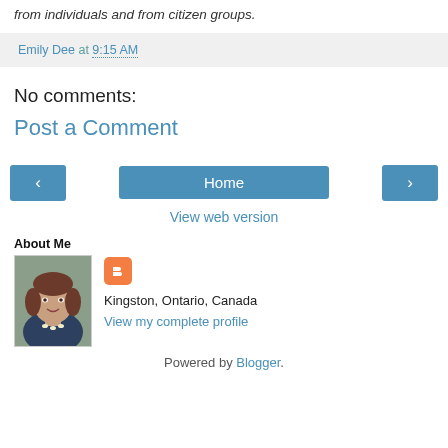from individuals and from citizen groups.
Emily Dee at 9:15 AM
No comments:
Post a Comment
[Figure (other): Navigation buttons: left arrow, Home, right arrow]
View web version
About Me
[Figure (photo): Profile photo of a woman with brown hair, smiling, wearing a blazer and pearl necklace]
Kingston, Ontario, Canada
View my complete profile
Powered by Blogger.